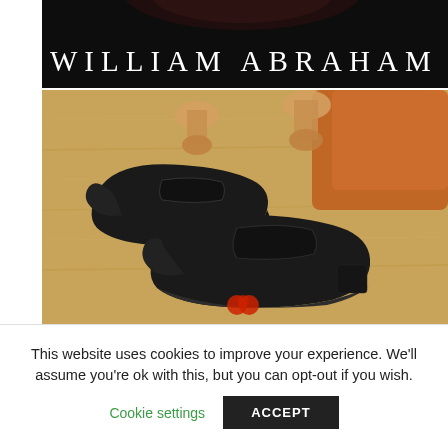[Figure (photo): Dark background banner with wooden shoe trees visible at top, part of a luxury shoe brand header]
WILLIAM ABRAHAM
[Figure (photo): Two black leather penny loafers with wooden shoe trees inserted, displayed on a wooden floor with an orange/tan leather surface in the background. A small red logo watermark is visible at the bottom center.]
This website uses cookies to improve your experience. We'll assume you're ok with this, but you can opt-out if you wish.
Cookie settings
ACCEPT